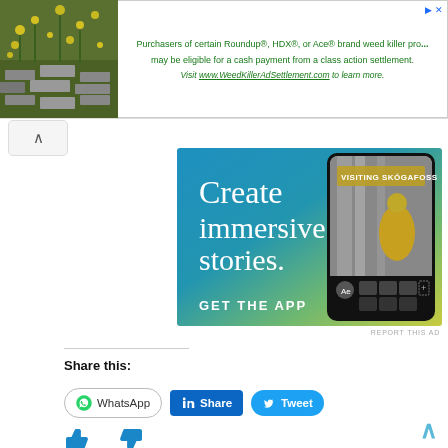[Figure (screenshot): Top banner ad: weed killer class action settlement ad with plant photo on left and green text on right reading 'Purchasers of certain Roundup®, HDX®, or Ace® brand weed killer pro... may be eligible for a cash payment from a class action settlement. Visit www.WeedKillerAdSettlement.com to learn more.']
[Figure (screenshot): Adobe Express app advertisement with blue-to-yellow gradient background, white serif text 'Create immersive stories.' and 'GET THE APP', and a phone mockup showing a waterfall photo with 'VISITING SKÓGAFOSS' label]
REPORT THIS AD
Share this:
[Figure (screenshot): Social sharing buttons: WhatsApp button with circular icon, LinkedIn Share button in blue, Twitter Tweet button in light blue]
[Figure (screenshot): Thumbs up and thumbs down icons in blue for rating content]